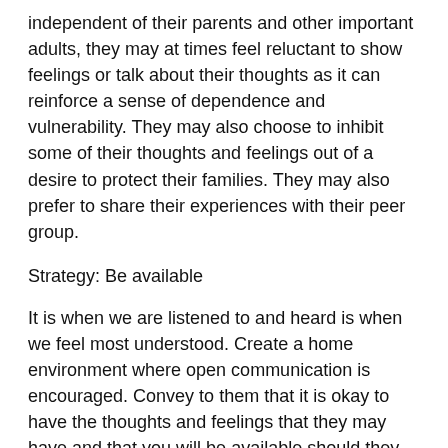independent of their parents and other important adults, they may at times feel reluctant to show feelings or talk about their thoughts as it can reinforce a sense of dependence and vulnerability. They may also choose to inhibit some of their thoughts and feelings out of a desire to protect their families. They may also prefer to share their experiences with their peer group.
Strategy: Be available
It is when we are listened to and heard is when we feel most understood. Create a home environment where open communication is encouraged. Convey to them that it is okay to have the thoughts and feelings that they may have and that you will be available should they decide to let you know what is going on with them.
As with adults, at the beginning of grief, it is sometimes very difficult to communicate what we are